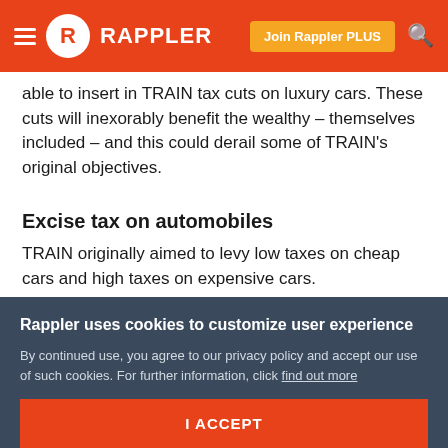Rappler
able to insert in TRAIN tax cuts on luxury cars. These cuts will inexorably benefit the wealthy – themselves included – and this could derail some of TRAIN's original objectives.
Excise tax on automobiles
TRAIN originally aimed to levy low taxes on cheap cars and high taxes on expensive cars.
The reason is twofold. First, we need a more progressive taxation of cars, so that richer car buyers will pay higher
Rappler uses cookies to customize user experience
By continued use, you agree to our privacy policy and accept our use of such cookies. For further information, click find out more
I ACCEPT